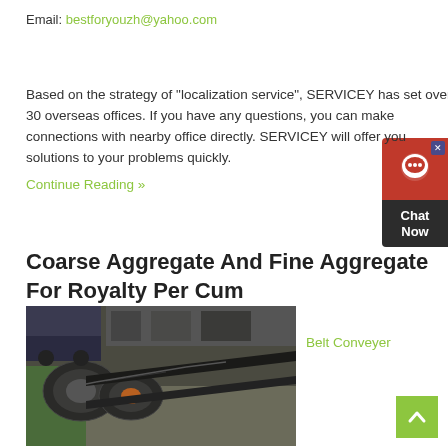Email: bestforyouzh@yahoo.com
Based on the strategy of "localization service", SERVICEY has set over 30 overseas offices. If you have any questions, you can make connections with nearby office directly. SERVICEY will offer you solutions to your problems quickly.
Continue Reading »
Coarse Aggregate And Fine Aggregate For Royalty Per Cum
[Figure (photo): Industrial belt conveyer machinery in a warehouse setting, showing large rubber conveyor belts with chevron pattern]
Belt Conveyer